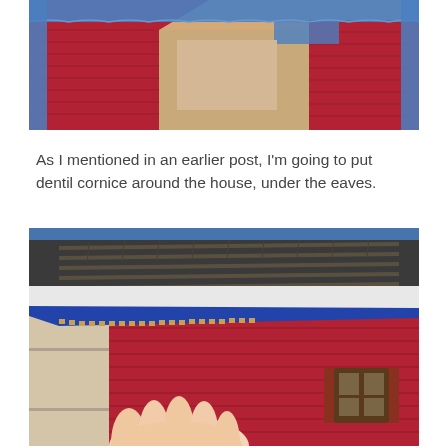[Figure (photo): Close-up photo of a red dollhouse roof section with blue painter's tape applied along the top edge. The roof shows red painted siding panels and cardboard visible underneath the tape.]
As I mentioned in an earlier post, I'm going to put dentil cornice around the house, under the eaves.
[Figure (photo): Photo of hands holding a corner section of a red miniature dollhouse model showing the roof eaves with blue painter's tape, dark shingles on the roof surface, and a small dentil cornice visible along the bottom edge of the eave. The house exterior is red with window shutters visible.]